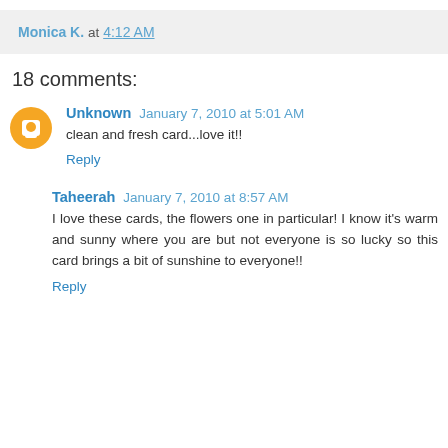Monica K. at 4:12 AM
18 comments:
Unknown January 7, 2010 at 5:01 AM
clean and fresh card...love it!!
Reply
Taheerah January 7, 2010 at 8:57 AM
I love these cards, the flowers one in particular! I know it's warm and sunny where you are but not everyone is so lucky so this card brings a bit of sunshine to everyone!!
Reply